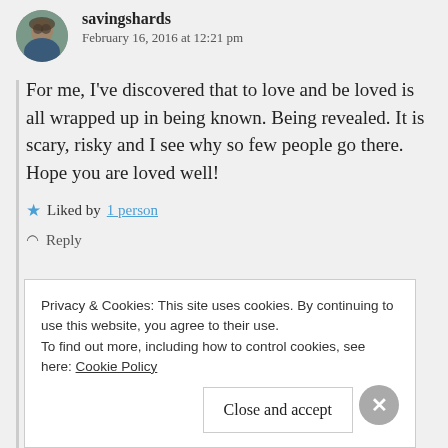savingshards
February 16, 2016 at 12:21 pm
For me, I've discovered that to love and be loved is all wrapped up in being known. Being revealed. It is scary, risky and I see why so few people go there. Hope you are loved well!
★ Liked by 1 person
↩ Reply
Privacy & Cookies: This site uses cookies. By continuing to use this website, you agree to their use.
To find out more, including how to control cookies, see here: Cookie Policy
Close and accept